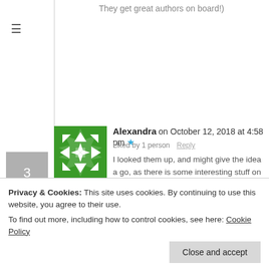They get great authors on board!)
Alexandra on October 12, 2018 at 4:58 pm
Liked by 1 person  Reply
I looked them up, and might give the idea a go, as there is some interesting stuff on the website.
imyril on October 12, 2018
Privacy & Cookies: This site uses cookies. By continuing to use this website, you agree to their use.
To find out more, including how to control cookies, see here: Cookie Policy
Close and accept
(FriendofTrem18x2 to get both